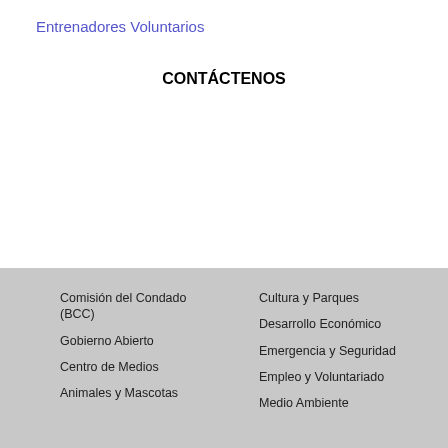Entrenadores Voluntarios
CONTÁCTENOS
Comisión del Condado (BCC)
Gobierno Abierto
Centro de Medios
Animales y Mascotas
Cultura y Parques
Desarrollo Económico
Emergencia y Seguridad
Empleo y Voluntariado
Medio Ambiente